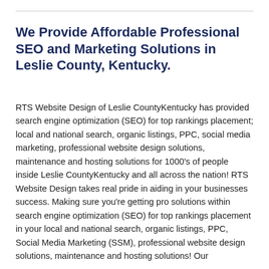We Provide Affordable Professional SEO and Marketing Solutions in Leslie County, Kentucky.
RTS Website Design of Leslie CountyKentucky has provided search engine optimization (SEO) for top rankings placement; local and national search, organic listings, PPC, social media marketing, professional website design solutions, maintenance and hosting solutions for 1000's of people inside Leslie CountyKentucky and all across the nation!  RTS Website Design takes real pride in aiding in your businesses success. Making sure you're getting pro solutions within search engine optimization (SEO) for top rankings placement in your local and national search, organic listings, PPC, Social Media Marketing (SSM), professional website design solutions, maintenance and hosting solutions! Our